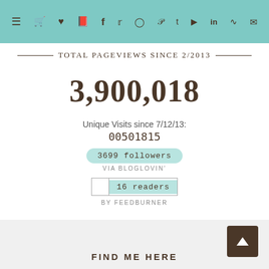Navigation bar with menu and social icons
TOTAL PAGEVIEWS SINCE 2/2013
3,900,018
Unique Visits since 7/12/13: 00501815
3699 followers VIA BLOGLOVIN'
16 readers BY FEEDBURNER
FIND ME HERE